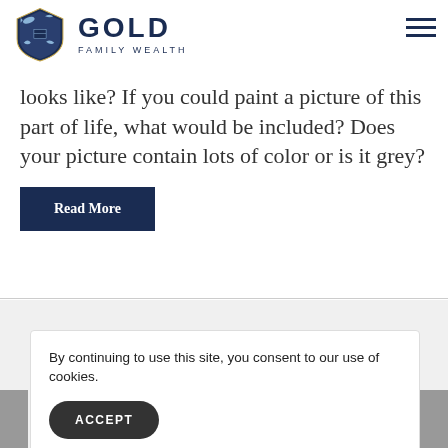GOLD FAMILY WEALTH
looks like? If you could paint a picture of this part of life, what would be included? Does your picture contain lots of color or is it grey?
Read More
By continuing to use this site, you consent to our use of cookies.
ACCEPT